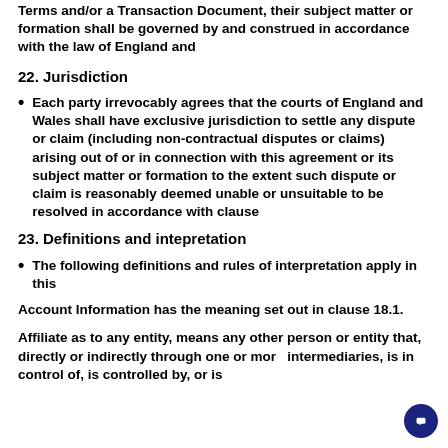Terms and/or a Transaction Document, their subject matter or formation shall be governed by and construed in accordance with the law of England and
22. Jurisdiction
Each party irrevocably agrees that the courts of England and Wales shall have exclusive jurisdiction to settle any dispute or claim (including non-contractual disputes or claims) arising out of or in connection with this agreement or its subject matter or formation to the extent such dispute or claim is reasonably deemed unable or unsuitable to be resolved in accordance with clause
23. Definitions and intepretation
The following definitions and rules of interpretation apply in this
Account Information has the meaning set out in clause 18.1.
Affiliate as to any entity, means any other person or entity that, directly or indirectly through one or more intermediaries, is in control of, is controlled by, or is